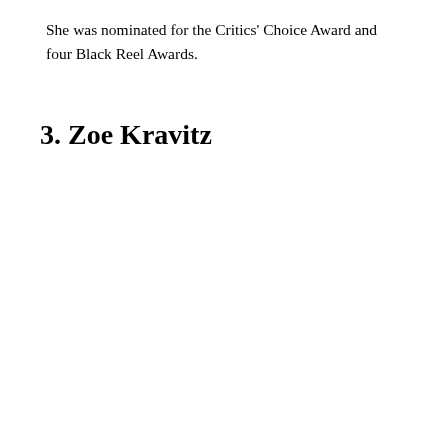She was nominated for the Critics' Choice Award and four Black Reel Awards.
3. Zoe Kravitz